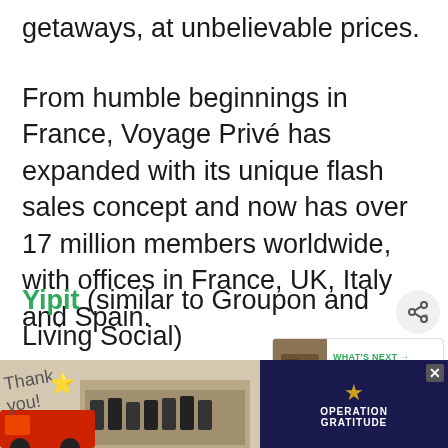getaways, at unbelievable prices.
From humble beginnings in France, Voyage Privé has expanded with its unique flash sales concept and now has over 17 million members worldwide, with offices in France, UK, Italy and Spain.
Yipit (similar to Groupon and Living Social)
For shoppers, Yipit.com aggregates the best deals and offers available online and id... each
[Figure (infographic): Advertisement banner with 'Thank you!' handwritten text, US flag emoji, firefighters photo, and Operation Gratitude logo]
[Figure (infographic): Share icon button (circular grey button with share symbol)]
[Figure (infographic): What's Next widget showing '6 Quick Team Building...' with thumbnail image]